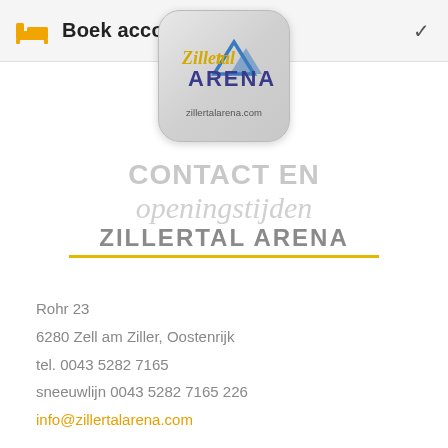Boek accomm...
[Figure (logo): Zillertal Arena logo with mountain graphic and text 'zillertalarena.com' on a rounded square button]
CONTACT EN openingstijden ZILLERTAL ARENA
Rohr 23
6280 Zell am Ziller, Oostenrijk
tel. 0043 5282 7165
sneeuwlijn 0043 5282 7165 226
info@zillertalarena.com